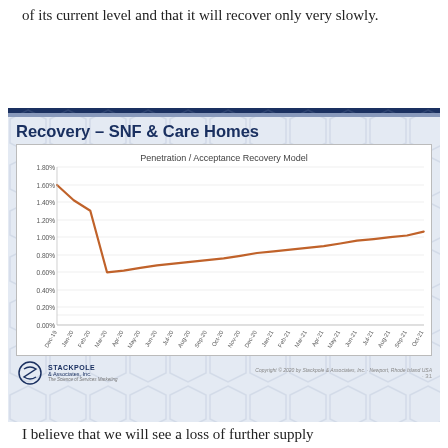of its current level and that it will recover only very slowly.
[Figure (line-chart): Recovery – SNF & Care Homes]
I believe that we will see a loss of further supply